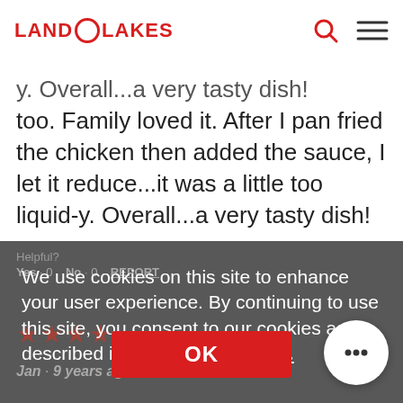[Figure (logo): Land O Lakes logo in red with circular O]
y. Overall...a very tasty dish! too. Family loved it. After I pan fried the chicken then added the sauce, I let it reduce...it was a little too liquid-y. Overall...a very tasty dish!
We use cookies on this site to enhance your user experience. By continuing to use this site, you consent to our cookies as described in our Privacy Policy.
Yes · 0   No · 0   REPORT
[Figure (other): 4 red stars rating]
Jan · 9 years ago